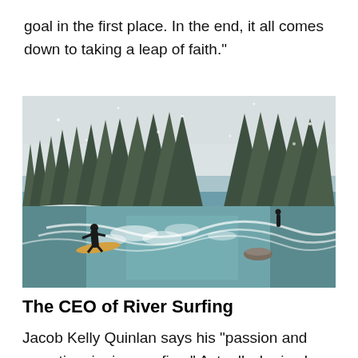goal in the first place. In the end, it all comes down to taking a leap of faith."
[Figure (photo): A surfer riding a river wave in a snowy winter landscape surrounded by snow-covered pine trees. The river water is turquoise and churning with white rapids. Another person stands in the background on the right bank.]
The CEO of River Surfing
Jacob Kelly Quinlan says his "passion and pass time is river surfing." Actually, he is also a board member of the Alberta River Surfing Association...